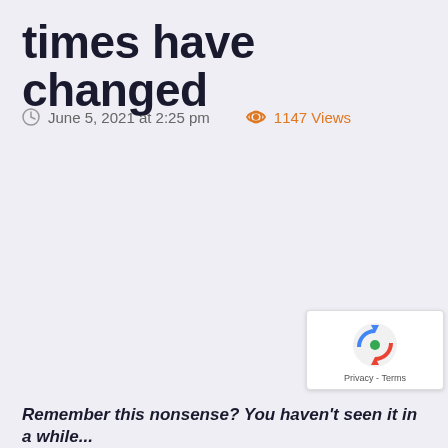times have changed
June 5, 2021 at 2:25 pm   1147 Views
[Figure (logo): reCAPTCHA badge with Google logo, Privacy and Terms links]
Remember this nonsense? You haven't seen it in a while...